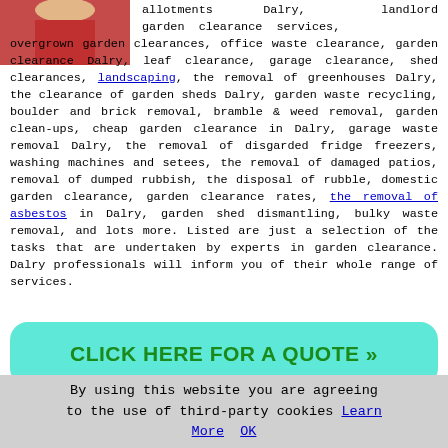[Figure (photo): Partial photo of a person in red clothing, cropped at top-left]
allotments Dalry, landlord garden clearance services, overgrown garden clearances, office waste clearance, garden clearance Dalry, leaf clearance, garage clearance, shed clearances, landscaping, the removal of greenhouses Dalry, the clearance of garden sheds Dalry, garden waste recycling, boulder and brick removal, bramble & weed removal, garden clean-ups, cheap garden clearance in Dalry, garage waste removal Dalry, the removal of disgarded fridge freezers, washing machines and setees, the removal of damaged patios, removal of dumped rubbish, the disposal of rubble, domestic garden clearance, garden clearance rates, the removal of asbestos in Dalry, garden shed dismantling, bulky waste removal, and lots more. Listed are just a selection of the tasks that are undertaken by experts in garden clearance. Dalry professionals will inform you of their whole range of services.
[Figure (infographic): CLICK HERE FOR A QUOTE >> button with teal/cyan rounded background]
Garden Clearances Near Dalry
By using this website you are agreeing to the use of third-party cookies Learn More OK